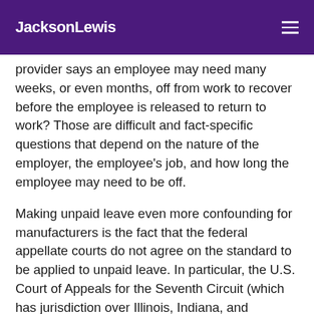JacksonLewis
provider says an employee may need many weeks, or even months, off from work to recover before the employee is released to return to work? Those are difficult and fact-specific questions that depend on the nature of the employer, the employee's job, and how long the employee may need to be off.
Making unpaid leave even more confounding for manufacturers is the fact that the federal appellate courts do not agree on the standard to be applied to unpaid leave. In particular, the U.S. Court of Appeals for the Seventh Circuit (which has jurisdiction over Illinois, Indiana, and Wisconsin) ruled in a 2017 case, recently reaffirmed in December 2020, that a multi-month non-Family and Medical Leave Act leave of absence is not a reasonable accommodation under the ADA, because an extended leave of absence does not give a disabled employee the means to work — instead, it excuses the employee from working